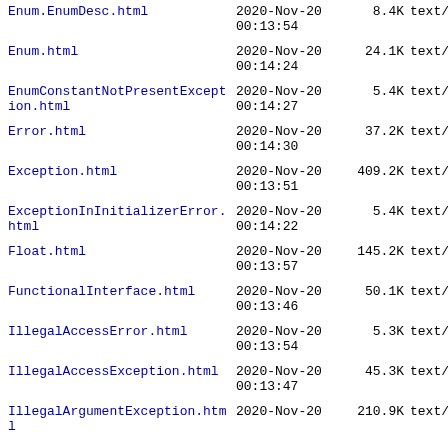Enum.EnumDesc.html  2020-Nov-20 00:13:54  8.4K  text/
Enum.html  2020-Nov-20 00:14:24  24.1K  text/
EnumConstantNotPresentException.html  2020-Nov-20 00:14:27  5.4K  text/
Error.html  2020-Nov-20 00:14:30  37.2K  text/
Exception.html  2020-Nov-20 00:13:51  409.2K  text/
ExceptionInInitializerError.html  2020-Nov-20 00:14:22  5.4K  text/
Float.html  2020-Nov-20 00:13:57  145.2K  text/
FunctionalInterface.html  2020-Nov-20 00:13:46  50.1K  text/
IllegalAccessError.html  2020-Nov-20 00:13:54  5.3K  text/
IllegalAccessException.html  2020-Nov-20 00:13:47  45.3K  text/
IllegalArgumentException.html  2020-Nov-20  210.9K  text/